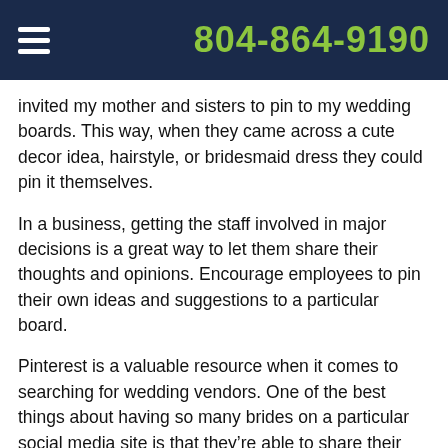804-864-9190
invited my mother and sisters to pin to my wedding boards. This way, when they came across a cute decor idea, hairstyle, or bridesmaid dress they could pin it themselves.
In a business, getting the staff involved in major decisions is a great way to let them share their thoughts and opinions. Encourage employees to pin their own ideas and suggestions to a particular board.
Pinterest is a valuable resource when it comes to searching for wedding vendors. One of the best things about having so many brides on a particular social media site is that they’re able to share their caterers, DJs, wedding officiants, etc. Many pins are linked to these vendor’s websites, which allowed me to contact them directly.
The next time your business hosts an event, consider